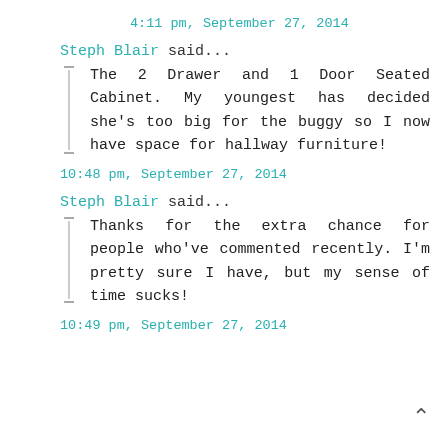4:11 pm, September 27, 2014
Steph Blair said...
The 2 Drawer and 1 Door Seated Cabinet. My youngest has decided she's too big for the buggy so I now have space for hallway furniture!
10:48 pm, September 27, 2014
Steph Blair said...
Thanks for the extra chance for people who've commented recently. I'm pretty sure I have, but my sense of time sucks!
10:49 pm, September 27, 2014